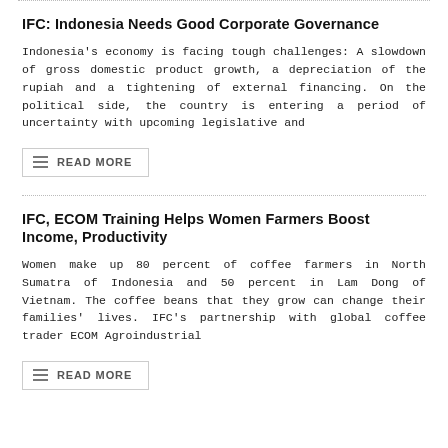IFC: Indonesia Needs Good Corporate Governance
Indonesia's economy is facing tough challenges: A slowdown of gross domestic product growth, a depreciation of the rupiah and a tightening of external financing. On the political side, the country is entering a period of uncertainty with upcoming legislative and
READ MORE
IFC, ECOM Training Helps Women Farmers Boost Income, Productivity
Women make up 80 percent of coffee farmers in North Sumatra of Indonesia and 50 percent in Lam Dong of Vietnam. The coffee beans that they grow can change their families' lives. IFC's partnership with global coffee trader ECOM Agroindustrial
READ MORE